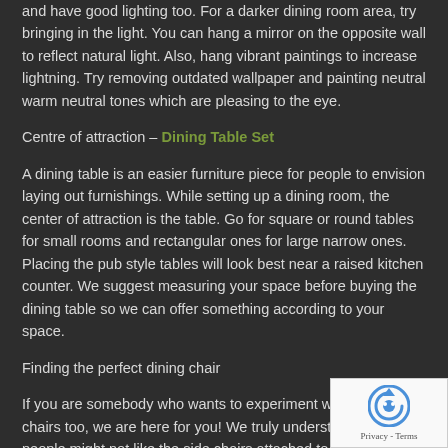and have good lighting too. For a darker dining room area, try bringing in the light. You can hang a mirror on the opposite wall to reflect natural light. Also, hang vibrant paintings to increase lightning. Try removing outdated wallpaper and painting neutral warm neutral tones which are pleasing to the eye.
Centre of attraction – Dining Table Set
A dining table is an easier furniture piece for people to envision laying out furnishings. While setting up a dining room, the center of attraction is the table. Go for square or round tables for small rooms and rectangular ones for large narrow ones. Placing the pub style tables will look best near a raised kitchen counter. We suggest measuring your space before buying the dining table so we can offer something according to your space.
Finding the perfect dining chair
If you are somebody who wants to experiment with the dining chairs too, we are here for you! We truly understand, some people might not like the side chairs attached to the dining room
[Figure (other): reCAPTCHA widget showing a robot icon with 'Privacy - Terms' text below]